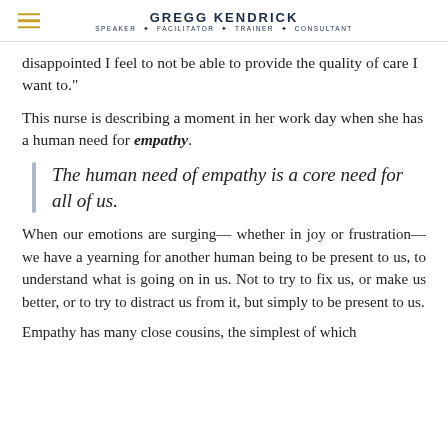GREGG KENDRICK — SPEAKER ✦ FACILITATOR ✦ TRAINER ✦ CONSULTANT
disappointed I feel to not be able to provide the quality of care I want to."
This nurse is describing a moment in her work day when she has a human need for empathy.
The human need of empathy is a core need for all of us.
When our emotions are surging— whether in joy or frustration— we have a yearning for another human being to be present to us, to understand what is going on in us. Not to try to fix us, or make us better, or to try to distract us from it, but simply to be present to us.
Empathy has many close cousins, the simplest of which